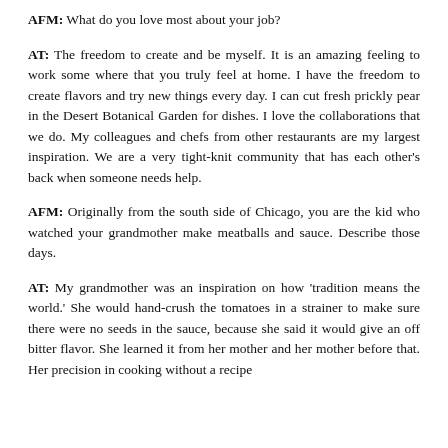AFM: What do you love most about your job?
AT: The freedom to create and be myself. It is an amazing feeling to work some where that you truly feel at home. I have the freedom to create flavors and try new things every day. I can cut fresh prickly pear in the Desert Botanical Garden for dishes. I love the collaborations that we do. My colleagues and chefs from other restaurants are my largest inspiration. We are a very tight-knit community that has each other's back when someone needs help.
AFM: Originally from the south side of Chicago, you are the kid who watched your grandmother make meatballs and sauce. Describe those days.
AT: My grandmother was an inspiration on how 'tradition means the world.' She would hand-crush the tomatoes in a strainer to make sure there were no seeds in the sauce, because she said it would give an off bitter flavor. She learned it from her mother and her mother before that. Her precision in cooking without a recipe